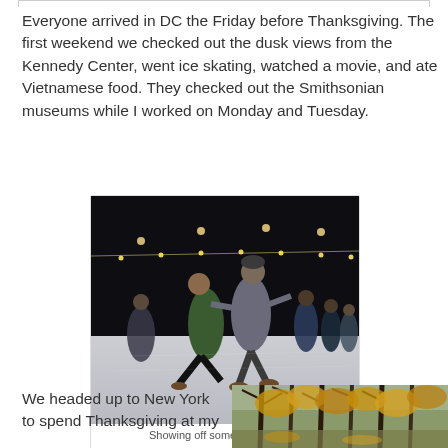Everyone arrived in DC the Friday before Thanksgiving. The first weekend we checked out the dusk views from the Kennedy Center, went ice skating, watched a movie, and ate Vietnamese food. They checked out the Smithsonian museums while I worked on Monday and Tuesday.
[Figure (photo): Two people ice skating at night at an outdoor rink decorated with string lights, striking a playful pose with other skaters in the background]
Showing off some skating skills
We headed up to New York to spend Thanksgiving at my
[Figure (photo): Autumn trees in a park with yellow and orange foliage]